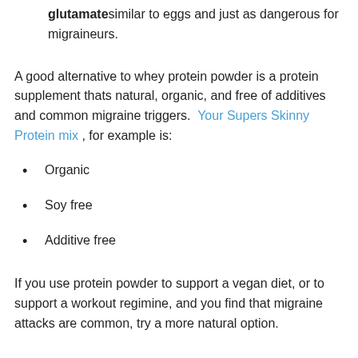glutamate similar to eggs and just as dangerous for migraineurs.
A good alternative to whey protein powder is a protein supplement thats natural, organic, and free of additives and common migraine triggers. Your Supers Skinny Protein mix, for example is:
Organic
Soy free
Additive free
If you use protein powder to support a vegan diet, or to support a workout regimine, and you find that migraine attacks are common, try a more natural option.